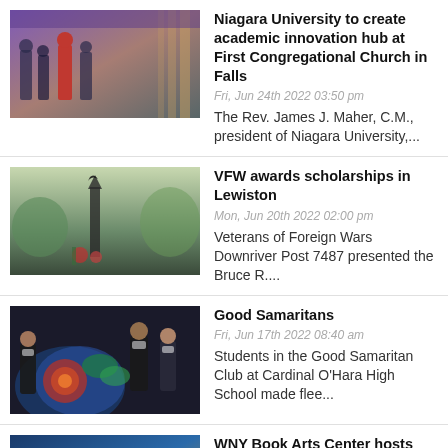Niagara University to create academic innovation hub at First Congregational Church in Falls | Fri, Jun 24th 2022 03:50 pm | The Rev. James J. Maher, C.M., president of Niagara University,...
VFW awards scholarships in Lewiston | Mon, Jun 20th 2022 02:00 pm | Veterans of Foreign Wars Downriver Post 7487 presented the Bruce R....
Good Samaritans | Fri, Jun 17th 2022 08:40 am | Students in the Good Samaritan Club at Cardinal O'Hara High School made flee...
WNY Book Arts Center hosts 2022 PRINTING PARTNERS sessions | Tue, Jun 14th 2022 11:30 am